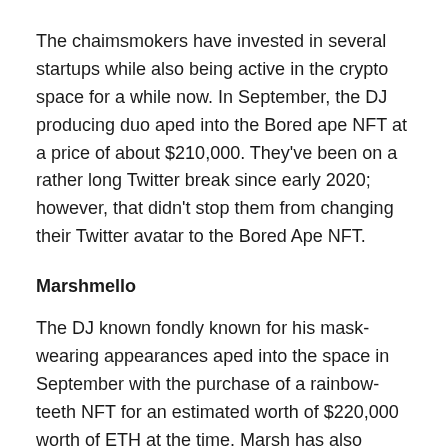The chaimsmokers have invested in several startups while also being active in the crypto space for a while now. In September, the DJ producing duo aped into the Bored ape NFT at a price of about $210,000. They’ve been on a rather long Twitter break since early 2020; however, that didn’t stop them from changing their Twitter avatar to the Bored Ape NFT.
Marshmello
The DJ known fondly known for his mask-wearing appearances aped into the space in September with the purchase of a rainbow-teeth NFT for an estimated worth of $220,000 worth of ETH at the time. Marsh has also tweeted about CrypToadz, meaning that he could possibly be testing the waters with other NFT projects.
Logan Paul